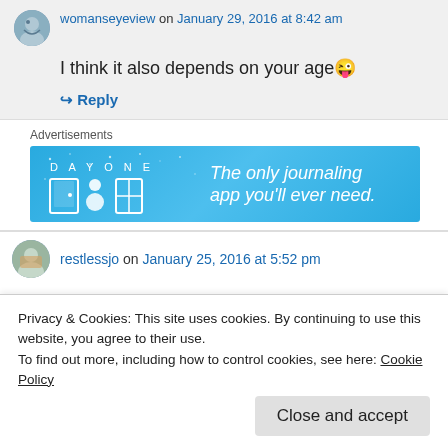womanseyeview on January 29, 2016 at 8:42 am
I think it also depends on your age 😜
↳ Reply
Advertisements
[Figure (screenshot): Day One app advertisement banner — blue background with app icons and text 'The only journaling app you'll ever need.']
restlessjo on January 25, 2016 at 5:52 pm
Privacy & Cookies: This site uses cookies. By continuing to use this website, you agree to their use.
To find out more, including how to control cookies, see here: Cookie Policy
Close and accept